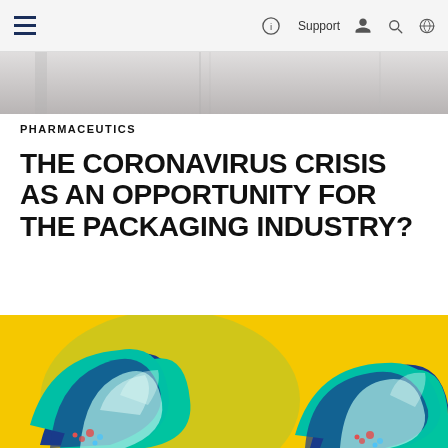Navigation bar with hamburger menu, Support, user, search, and globe icons
[Figure (photo): Partial top strip showing a person in a white coat or fabric background]
PHARMACEUTICS
THE CORONAVIRUS CRISIS AS AN OPPORTUNITY FOR THE PACKAGING INDUSTRY?
[Figure (photo): Colorful tropical leaf patterned fabric gift wrapping on a yellow background — two furoshiki-style wrapped packages with teal, navy, and coral patterns]